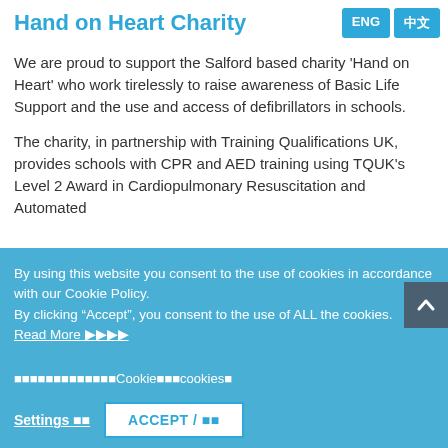Hand on Heart Charity
We are proud to support the Salford based charity ‘Hand on Heart’ who work tirelessly to raise awareness of Basic Life Support and the use and access of defibrillators in schools.
The charity, in partnership with Training Qualifications UK, provides schools with CPR and AED training using TQUK’s Level 2 Award in Cardiopulmonary Resuscitation and Automated
By using this website you consent to the use of cookies in accordance with our Cookie Policy.
By clicking “Accept”, you consent to the use of ALL the cookies.
Read More ▶▶▶▶
■■■■■■■■■■■■■Cookie■■■■cookies■
■■“ACCEPT”(■■)■■■■■■■■cookie■Read More ■■■■
Settings ■■    ACCEPT / ■■